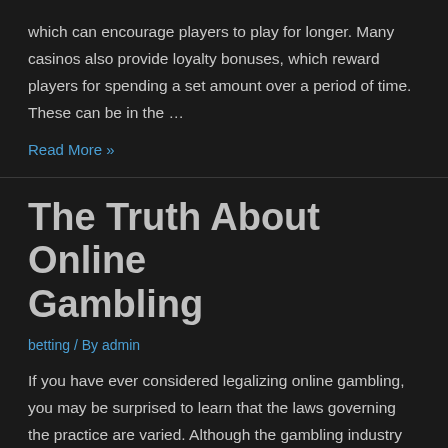which can encourage players to play for longer. Many casinos also provide loyalty bonuses, which reward players for spending a set amount over a period of time. These can be in the …
Read More »
The Truth About Online Gambling
betting / By admin
If you have ever considered legalizing online gambling, you may be surprised to learn that the laws governing the practice are varied. Although the gambling industry has developed in recent years, the law still does not make online betting illegal. In some states, online sports betting and casino gambling are explicitly legal. But there are …